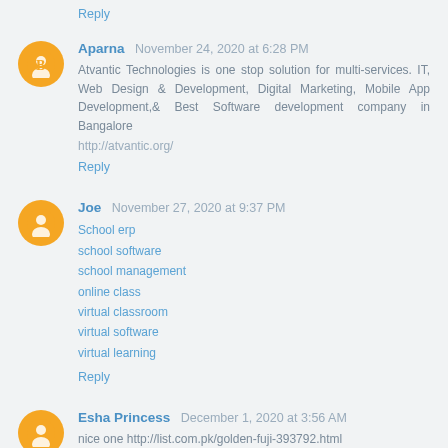Reply
Aparna  November 24, 2020 at 6:28 PM
Atvantic Technologies is one stop solution for multi-services. IT, Web Design & Development, Digital Marketing, Mobile App Development,& Best Software development company in Bangalore
http://atvantic.org/
Reply
Joe  November 27, 2020 at 9:37 PM
School erp
school software
school management
online class
virtual classroom
virtual software
virtual learning
Reply
Esha Princess  December 1, 2020 at 3:56 AM
nice one http://list.com.pk/golden-fuji-393792.html
Reply